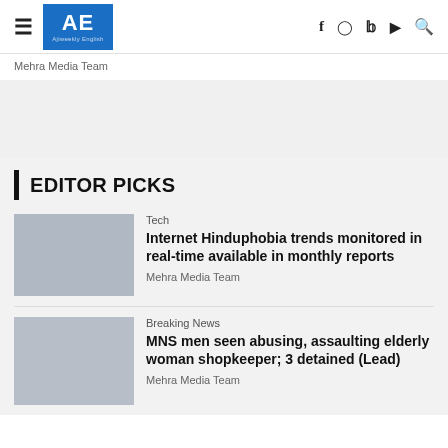AE Ajiweekly English — navigation header with hamburger menu, logo, and social icons (f, instagram, twitter, youtube, search)
Mehra Media Team
EDITOR PICKS
Tech
Internet Hinduphobia trends monitored in real-time available in monthly reports
Mehra Media Team
Breaking News
MNS men seen abusing, assaulting elderly woman shopkeeper; 3 detained (Lead)
Mehra Media Team